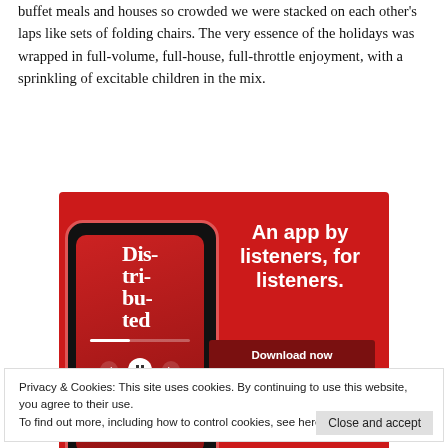buffet meals and houses so crowded we were stacked on each other's laps like sets of folding chairs. The very essence of the holidays was wrapped in full-volume, full-house, full-throttle enjoyment, with a sprinkling of excitable children in the mix.
[Figure (screenshot): Advertisement for a podcast app showing a smartphone with a podcast interface on a red background. Text reads: 'An app by listeners, for listeners.' with a 'Download now' button.]
Privacy & Cookies: This site uses cookies. By continuing to use this website, you agree to their use.
To find out more, including how to control cookies, see here: Cookie Policy
too. It was exhausting.